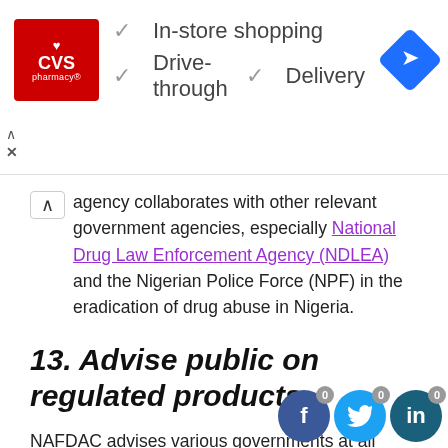[Figure (screenshot): CVS Pharmacy advertisement banner showing logo and features: In-store shopping, Drive-through, Delivery, with navigation icon]
agency collaborates with other relevant government agencies, especially National Drug Law Enforcement Agency (NDLEA) and the Nigerian Police Force (NPF) in the eradication of drug abuse in Nigeria.
13. Advise public on regulated products
NAFDAC advises various governments at all levels, private companies, and other interested bodies